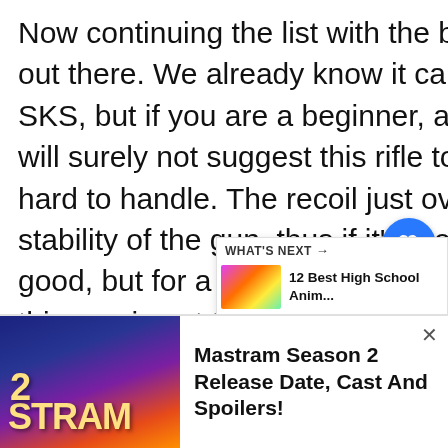Now continuing the list with the best available sniping rifle out there. We already know it can be nothing else but SKS, but if you are a beginner, and you love sniping, we will surely not suggest this rifle to you, because it's just too hard to handle. The recoil just overshadows the entire stability of the gun, thus if it's a one-shot knockout then it's good, but for a mid-range or more than one-shot knockout, this gun is not that appropriate. Now for using the SKS, you need to give thorough attention to the attachments such as the muzzle, foregrip, and others, mainly those which add stability to your gun, otherwise with its destructive po... gun is lethal in its type.
[Figure (screenshot): Social UI overlay with heart/like button (blue circle), count of 1, and share button]
[Figure (screenshot): What's Next widget showing a thumbnail and title '12 Best High School Anim...']
[Figure (screenshot): Bottom advertisement bar for 'Mastram Season 2 Release Date, Cast And Spoilers!' with show image on the left]